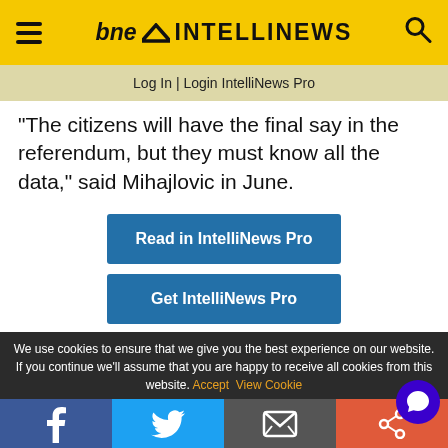bne INTELLINEWS
Log In | Login IntelliNews Pro
“The citizens will have the final say in the referendum, but they must know all the data,” said Mihajlovic in June.
Read in IntelliNews Pro
Get IntelliNews Pro
We use cookies to ensure that we give you the best experience on our website. If you continue we’ll assume that you are happy to receive all cookies from this website. Accept  View Cookie